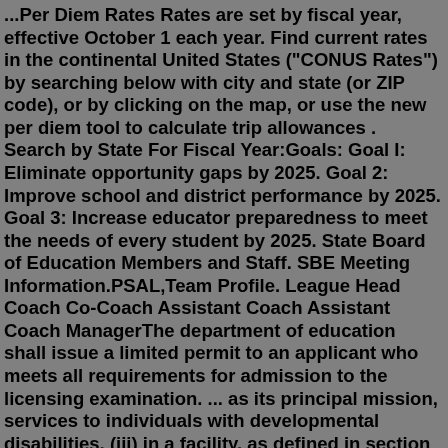...Per Diem Rates Rates are set by fiscal year, effective October 1 each year. Find current rates in the continental United States ("CONUS Rates") by searching below with city and state (or ZIP code), or by clicking on the map, or use the new per diem tool to calculate trip allowances . Search by State For Fiscal Year:Goals: Goal I: Eliminate opportunity gaps by 2025. Goal 2: Improve school and district performance by 2025. Goal 3: Increase educator preparedness to meet the needs of every student by 2025. State Board of Education Members and Staff. SBE Meeting Information.PSAL,Team Profile. League Head Coach Co-Coach Assistant Coach Assistant Coach ManagerThe department of education shall issue a limited permit to an applicant who meets all requirements for admission to the licensing examination. ... as its principal mission, services to individuals with developmental disabilities, (iii) in a facility, as defined in section 1.03 of the mental hygiene law, or (iv) under a monitored program of the... On Thursday, New York City's